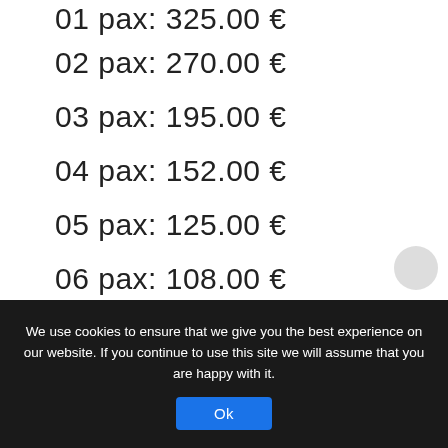01 pax: 325.00 €
02 pax: 270.00 €
03 pax: 195.00 €
04 pax: 152.00 €
05 pax: 125.00 €
06 pax: 108.00 €
07 pax:  96.00 €
08 pax:  87.00 €
We use cookies to ensure that we give you the best experience on our website. If you continue to use this site we will assume that you are happy with it.